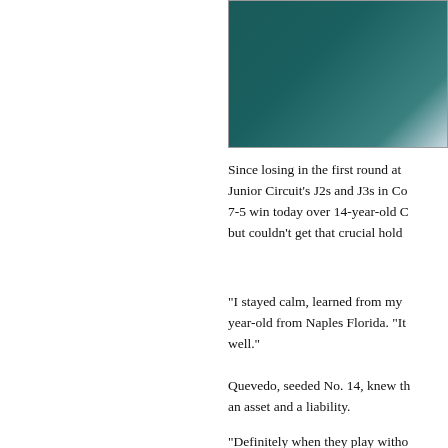[Figure (photo): Partial photo of a person, showing dark teal/green background with what appears to be a player in light blue clothing, cropped at top-right corner of the page]
Since losing in the first round at Junior Circuit's J2s and J3s in Co 7-5 win today over 14-year-old C but couldn't get that crucial hold
"I stayed calm, learned from my year-old from Naples Florida. "It well."
Quevedo, seeded No. 14, knew th an asset and a liability.
"Definitely when they play witho